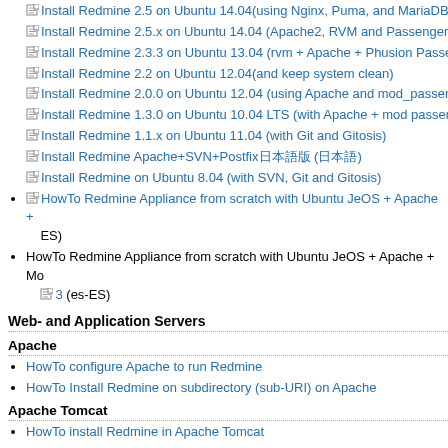Install Redmine 2.5 on Ubuntu 14.04(using Nginx, Puma, and MariaDB)
Install Redmine 2.5.x on Ubuntu 14.04 (Apache2, RVM and Passenger)
Install Redmine 2.3.3 on Ubuntu 13.04 (rvm + Apache + Phusion Passenger)
Install Redmine 2.2 on Ubuntu 12.04(and keep system clean)
Install Redmine 2.0.0 on Ubuntu 12.04 (using Apache and mod_passenger)
Install Redmine 1.3.0 on Ubuntu 10.04 LTS (with Apache + mod passenger)
Install Redmine 1.1.x on Ubuntu 11.04 (with Git and Gitosis)
Install Redmine Apache+SVN+Postfix日本語版 (日本語)
Install Redmine on Ubuntu 8.04 (with SVN, Git and Gitosis)
HowTo Redmine Appliance from scratch with Ubuntu JeOS + Apache + ES)
HowTo Redmine Appliance from scratch with Ubuntu JeOS + Apache + Mo... 3 (es-ES)
Web- and Application Servers
Apache
HowTo configure Apache to run Redmine
HowTo Install Redmine on subdirectory (sub-URI) on Apache
Apache Tomcat
HowTo install Redmine in Apache Tomcat
Mongrel
HowTo run Redmine with a Mongrel cluster
Nginx
HowTo configure Nginx to run Redmine